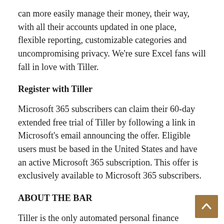can more easily manage their money, their way, with all their accounts updated in one place, flexible reporting, customizable categories and uncompromising privacy. We're sure Excel fans will fall in love with Tiller.
Register with Tiller
Microsoft 365 subscribers can claim their 60-day extended free trial of Tiller by following a link in Microsoft's email announcing the offer. Eligible users must be based in the United States and have an active Microsoft 365 subscription. This offer is exclusively available to Microsoft 365 subscribers.
ABOUT THE BAR
Tiller is the only automated personal finance service built on Microsoft Excel and Google Sheets, combining the simplicity of an app with the power of spreadsheets. Tiller offers customers a clear view of all their finances in one place, flexible templates, a vibrant user community, US-based customer support, strict